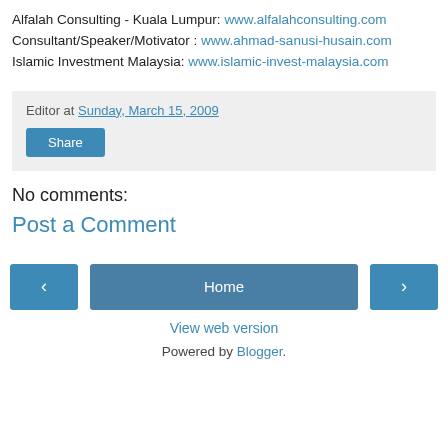Alfalah Consulting - Kuala Lumpur: www.alfalahconsulting.com
Consultant/Speaker/Motivator : www.ahmad-sanusi-husain.com
Islamic Investment Malaysia: www.islamic-invest-malaysia.com
Editor at Sunday, March 15, 2009
Share
No comments:
Post a Comment
‹
Home
›
View web version
Powered by Blogger.